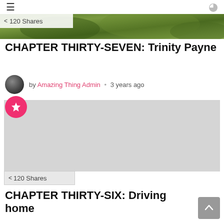≡  )
[Figure (photo): Green landscape/nature photo used as hero banner image]
< 120 Shares
CHAPTER THIRTY-SEVEN: Trinity Payne
by Amazing Thing Admin • 3 years ago
[Figure (illustration): Pink circle badge with white star icon]
[Figure (photo): Large grey placeholder image block]
< 120 Shares
CHAPTER THIRTY-SIX: Driving home